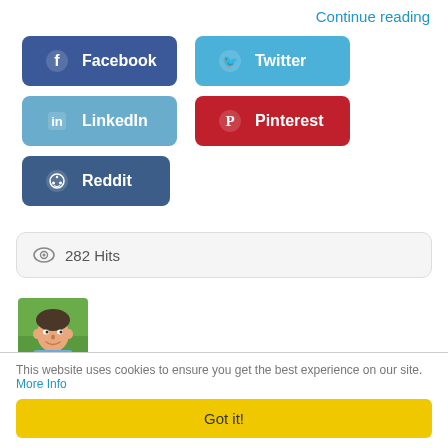Continue reading
[Figure (screenshot): Social media share buttons: Facebook (dark blue), Twitter (light blue), LinkedIn (steel blue), Pinterest (red), Reddit (dark blue-grey)]
282 Hits
[Figure (photo): Author headshot: man smiling, blue shirt, outdoor background]
Notice You’re Alright Right Now
Friday, 08 April 2022
Rick Hanson Ph.D
Transformation, Fear, Worry
This website uses cookies to ensure you get the best experience on our site. More Info
Got it!